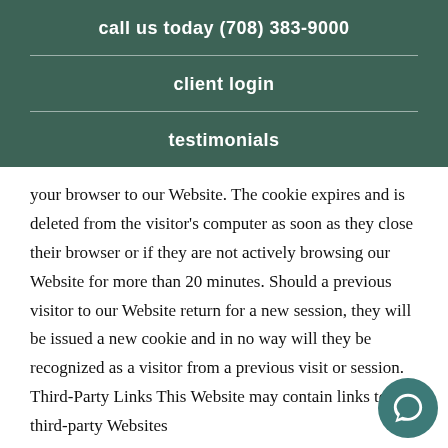call us today (708) 383-9000
client login
testimonials
your browser to our Website. The cookie expires and is deleted from the visitor's computer as soon as they close their browser or if they are not actively browsing our Website for more than 20 minutes. Should a previous visitor to our Website return for a new session, they will be issued a new cookie and in no way will they be recognized as a visitor from a previous visit or session. Third-Party Links This Website may contain links to third-party Websites